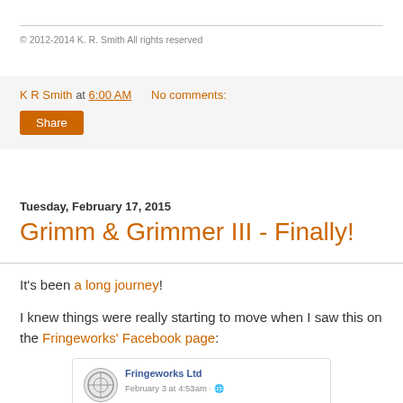© 2012-2014 K. R. Smith All rights reserved
K R Smith at 6:00 AM    No comments:
Share
Tuesday, February 17, 2015
Grimm & Grimmer III - Finally!
It's been a long journey!
I knew things were really starting to move when I saw this on the Fringeworks' Facebook page:
[Figure (screenshot): Facebook post from Fringeworks Ltd dated February 3 at 4:53am saying 'Coming any day...' with an image below]